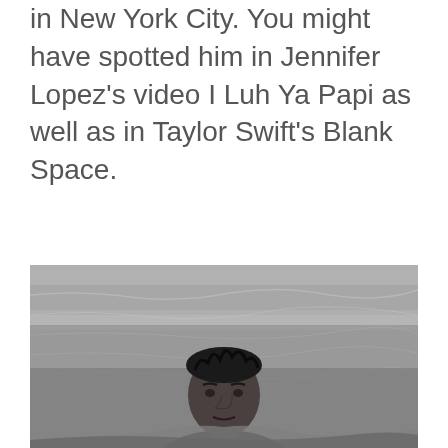in New York City. You might have spotted him in Jennifer Lopez's video I Luh Ya Papi as well as in Taylor Swift's Blank Space.
[Figure (photo): Black and white photograph of a man emerging from water, showing head and upper shoulders. The water surface is visible around him.]